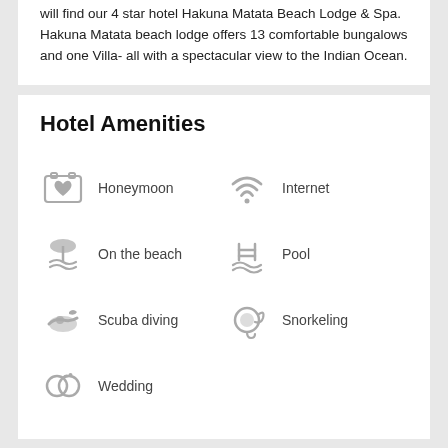will find our 4 star hotel Hakuna Matata Beach Lodge &amp; Spa. Hakuna Matata beach lodge offers 13 comfortable bungalows and one Villa- all with a spectacular view to the Indian Ocean.
Hotel Amenities
[Figure (infographic): Hotel amenities icons and labels: Honeymoon, Internet, On the beach, Pool, Scuba diving, Snorkeling, Wedding]
Type of accommodation